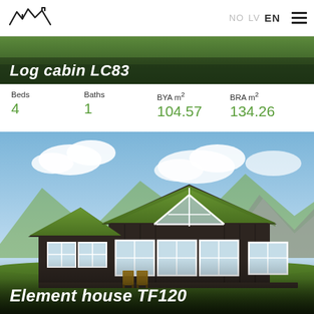NO LV EN
Log cabin LC83
Beds 4  Baths 1  BYA m² 104.57  BRA m² 134.26
[Figure (photo): 3D rendering of a dark brown Scandinavian cabin with grass sod roof, large white-framed windows, mountain landscape background, two wooden chairs on front patio]
Element house TF120